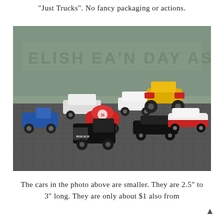"Just Trucks". No fancy packaging or actions.
[Figure (photo): A photograph of multiple small die-cast toy cars and trucks arranged on a metal grid surface, with a weathered painted wall in the background. Several vehicles including a blue pickup, white station wagons, a red baja bug with number 36, a black tow truck, a yellow monster truck, a black muscle car, and a white/red classic car.]
The cars in the photo above are smaller. They are 2.5" to
3" long. They are only about $1 also from